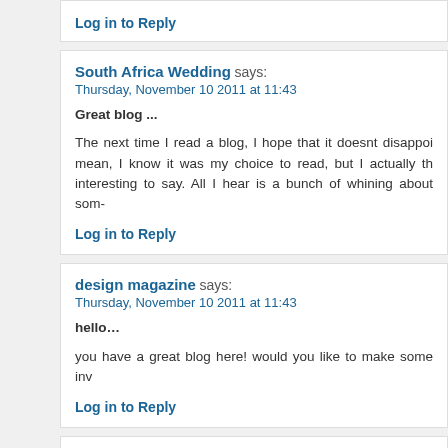Log in to Reply
South Africa Wedding says: Thursday, November 10 2011 at 11:43
Great blog ...
The next time I read a blog, I hope that it doesnt disappoi mean, I know it was my choice to read, but I actually th interesting to say. All I hear is a bunch of whining about som-
Log in to Reply
design magazine says: Thursday, November 10 2011 at 11:43
hello...
you have a great blog here! would you like to make some inv
Log in to Reply
jobs in dubai says: Thursday, November 10 2011 at 11:43
Arigatou...
Hello! I just would like to give a huge thumbs up for the gre post. I will be coming back to your blog for more soon....